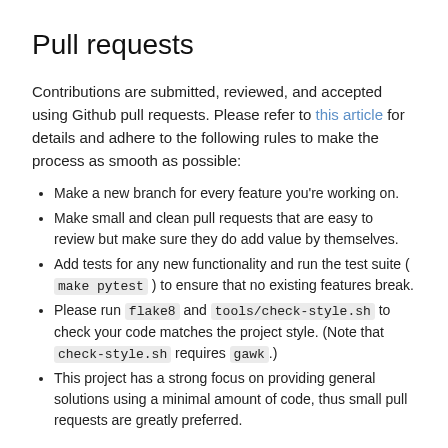Pull requests
Contributions are submitted, reviewed, and accepted using Github pull requests. Please refer to this article for details and adhere to the following rules to make the process as smooth as possible:
Make a new branch for every feature you're working on.
Make small and clean pull requests that are easy to review but make sure they do add value by themselves.
Add tests for any new functionality and run the test suite ( make pytest ) to ensure that no existing features break.
Please run flake8 and tools/check-style.sh to check your code matches the project style. (Note that check-style.sh requires gawk.)
This project has a strong focus on providing general solutions using a minimal amount of code, thus small pull requests are greatly preferred.